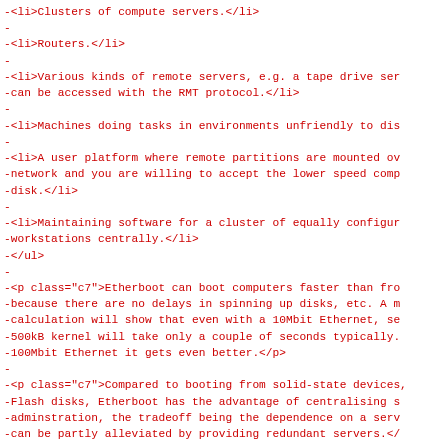-<li>Clusters of compute servers.</li>
-
-<li>Routers.</li>
-
-<li>Various kinds of remote servers, e.g. a tape drive ser
-can be accessed with the RMT protocol.</li>
-
-<li>Machines doing tasks in environments unfriendly to dis
-
-<li>A user platform where remote partitions are mounted ov
-network and you are willing to accept the lower speed comp
-disk.</li>
-
-<li>Maintaining software for a cluster of equally configur
-workstations centrally.</li>
-</ul>
-
-<p class="c7">Etherboot can boot computers faster than fro
-because there are no delays in spinning up disks, etc. A m
-calculation will show that even with a 10Mbit Ethernet, se
-500kB kernel will take only a couple of seconds typically.
-100Mbit Ethernet it gets even better.</p>
-
-<p class="c7">Compared to booting from solid-state devices,
-Flash disks, Etherboot has the advantage of centralising s
-adminstration, the tradeoff being the dependence on a serv
-can be partly alleviated by providing redundant servers.</
-
-<p class="c7">Etherboot can work with RAM disks, NFS filesy
-or even local disks, if desired. It's a component technolo
-can be combined with other technologies to do things the w
-want.</p>